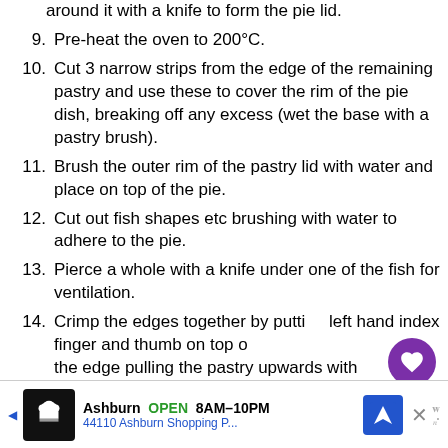around it with a knife to form the pie lid.
9. Pre-heat the oven to 200°C.
10. Cut 3 narrow strips from the edge of the remaining pastry and use these to cover the rim of the pie dish, breaking off any excess (wet the base with a pastry brush).
11. Brush the outer rim of the pastry lid with water and place on top of the pie.
12. Cut out fish shapes etc brushing with water to adhere to the pie.
13. Pierce a whole with a knife under one of the fish for ventilation.
14. Crimp the edges together by putting left hand index finger and thumb on top of the edge pulling the pastry upwards with
[Figure (screenshot): UI overlay buttons: heart (favorite) and share icons, and a What's Next banner showing Fish Pie]
[Figure (screenshot): Advertisement bar: Ashburn OPEN 8AM-10PM, 44110 Ashburn Shopping P...]